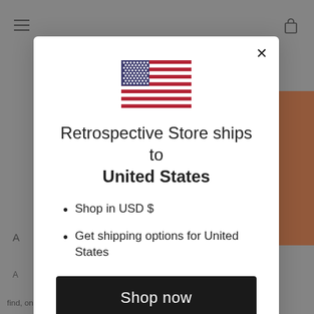[Figure (screenshot): Website background with hamburger menu, shopping bag icon, blurred content, orange product image, and partial text visible behind modal]
[Figure (illustration): US flag icon centered at top of modal dialog]
Retrospective Store ships to United States
Shop in USD $
Get shipping options for United States
Shop now
Change shipping country